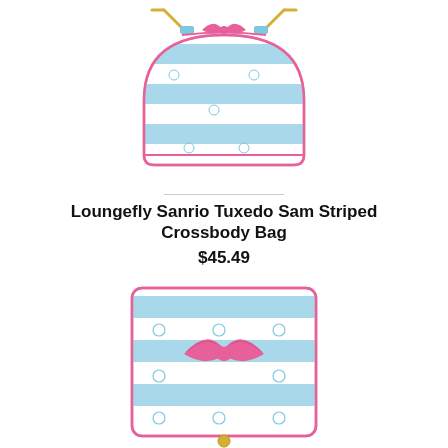[Figure (photo): Loungefly Sanrio Tuxedo Sam striped crossbody bag with blue and white horizontal stripes, pink bow on top, and small Tuxedo Sam cat face prints throughout. Pink zipper trim and gold chain handle.]
Loungefly Sanrio Tuxedo Sam Striped Crossbody Bag
$45.49
[Figure (photo): Loungefly Sanrio Tuxedo Sam striped zip-around wallet with blue and white horizontal stripes, large pink bow in center, small Tuxedo Sam cat face prints, pink zip trim and gold zipper pull charm.]
Loungefly Sanrio Tuxedo Sam Striped